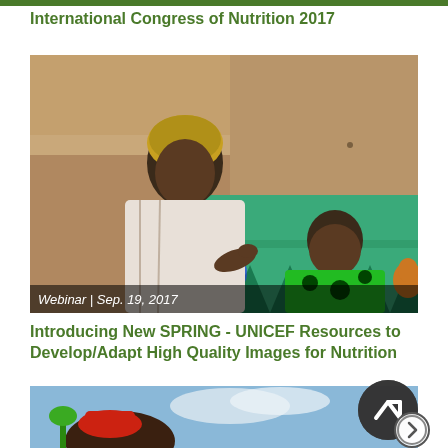International Congress of Nutrition 2017
[Figure (photo): A woman sitting outdoors with a young child, feeding the child from a bowl, in front of a mud wall with a colorful green patterned mat. Overlay text reads: Webinar | Sep. 19, 2017]
Introducing New SPRING - UNICEF Resources to Develop/Adapt High Quality Images for Nutrition
[Figure (photo): Partial view of a person outdoors against a sky background, partially obscured by navigation arrows overlay]